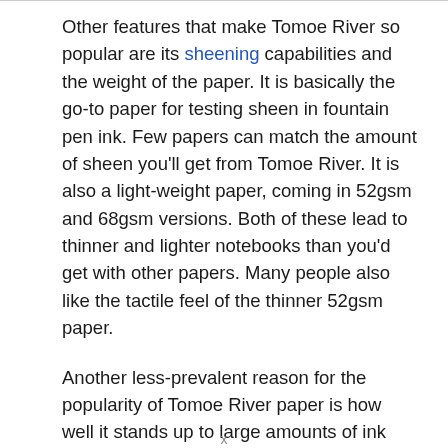Other features that make Tomoe River so popular are its sheening capabilities and the weight of the paper. It is basically the go-to paper for testing sheen in fountain pen ink. Few papers can match the amount of sheen you'll get from Tomoe River. It is also a light-weight paper, coming in 52gsm and 68gsm versions. Both of these lead to thinner and lighter notebooks than you'd get with other papers. Many people also like the tactile feel of the thinner 52gsm paper.
Another less-prevalent reason for the popularity of Tomoe River paper is how well it stands up to large amounts of ink and even water. I know many people, myself included, like to use Tomoe River for playing with ink and water. The fact that you can pool liquids on its surface and not have them soak through and ruin